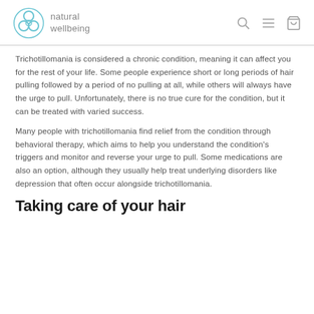natural wellbeing
Trichotillomania is considered a chronic condition, meaning it can affect you for the rest of your life. Some people experience short or long periods of hair pulling followed by a period of no pulling at all, while others will always have the urge to pull. Unfortunately, there is no true cure for the condition, but it can be treated with varied success.
Many people with trichotillomania find relief from the condition through behavioral therapy, which aims to help you understand the condition's triggers and monitor and reverse your urge to pull. Some medications are also an option, although they usually help treat underlying disorders like depression that often occur alongside trichotillomania.
Taking care of your hair